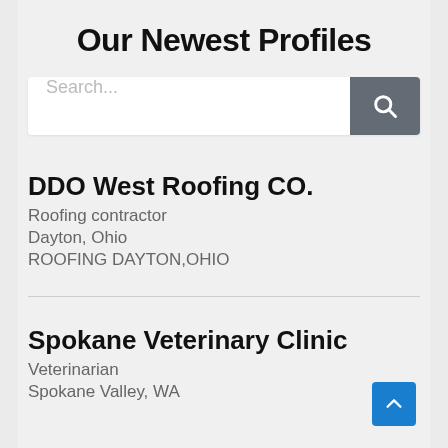Our Newest Profiles
[Figure (screenshot): Search bar with text input placeholder 'Search...' and a dark grey search button with magnifying glass icon]
DDO West Roofing CO.
Roofing contractor
Dayton, Ohio
ROOFING DAYTON,OHIO
Spokane Veterinary Clinic
Veterinarian
Spokane Valley, WA